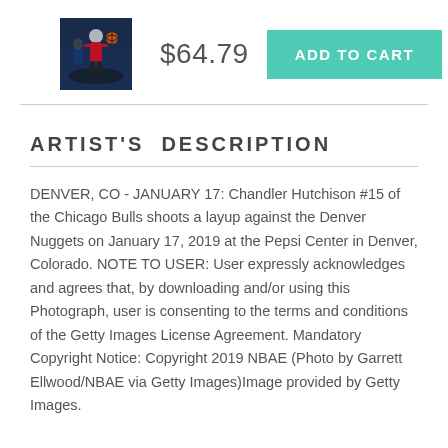[Figure (photo): Small thumbnail of basketball player (Chandler Hutchison #15 Chicago Bulls) shooting a layup]
$64.79
ADD TO CART
ARTIST'S DESCRIPTION
DENVER, CO - JANUARY 17: Chandler Hutchison #15 of the Chicago Bulls shoots a layup against the Denver Nuggets on January 17, 2019 at the Pepsi Center in Denver, Colorado. NOTE TO USER: User expressly acknowledges and agrees that, by downloading and/or using this Photograph, user is consenting to the terms and conditions of the Getty Images License Agreement. Mandatory Copyright Notice: Copyright 2019 NBAE (Photo by Garrett Ellwood/NBAE via Getty Images)Image provided by Getty Images.